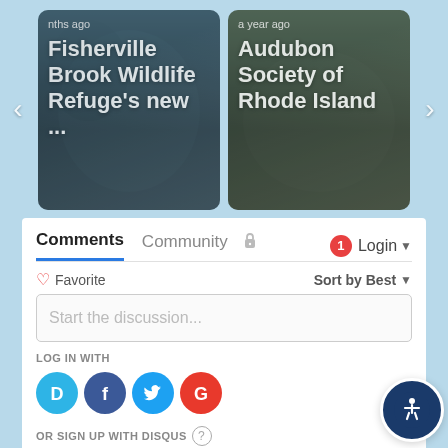[Figure (screenshot): Carousel card: Fisherville Brook Wildlife Refuge's new ... - posted months ago, bird/wildlife photo background]
[Figure (screenshot): Carousel card: Audubon Society of Rhode Island - posted a year ago, wildlife photo background]
Comments  Community  🔒  1  Login ▼
♡ Favorite   Sort by Best ▼
Start the discussion...
LOG IN WITH
[Figure (logo): Social login icons: Disqus (D), Facebook (f), Twitter bird, Google (G)]
OR SIGN UP WITH DISQUS ?
Name